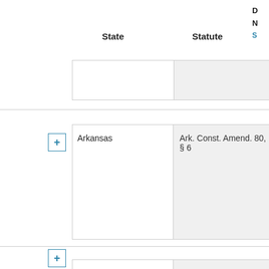D
N
S
| State | Statute | D N S |
| --- | --- | --- |
| Arkansas | Ark. Const. Amend. 80, § 6 |  |
| Arkansas | Ark. Code Ann. § 16-98-303(a)(1)-(3) |  |